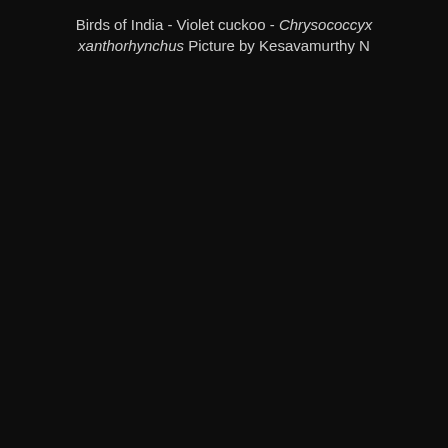Birds of India - Violet cuckoo - Chrysococcyx xanthorhynchus Picture by Kesavamurthy N
[Figure (photo): Nearly entirely black/dark image — the photograph of the Violet cuckoo (Chrysococcyx xanthorhynchus) is not visible due to extreme darkness or underexposure.]